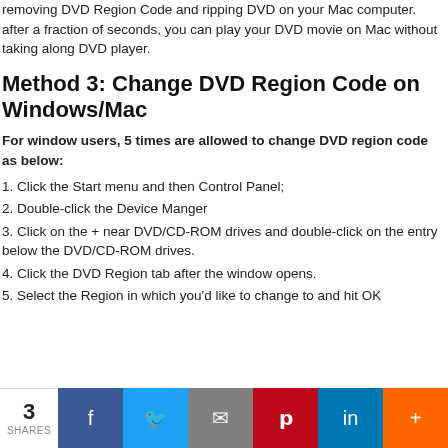removing DVD Region Code and ripping DVD on your Mac computer. after a fraction of seconds, you can play your DVD movie on Mac without taking along DVD player.
Method 3: Change DVD Region Code on Windows/Mac
For window users, 5 times are allowed to change DVD region code as below:
1. Click the Start menu and then Control Panel;
2. Double-click the Device Manger
3. Click on the + near DVD/CD-ROM drives and double-click on the entry below the DVD/CD-ROM drives.
4. Click the DVD Region tab after the window opens.
5. Select the Region in which you'd like to change to and hit OK